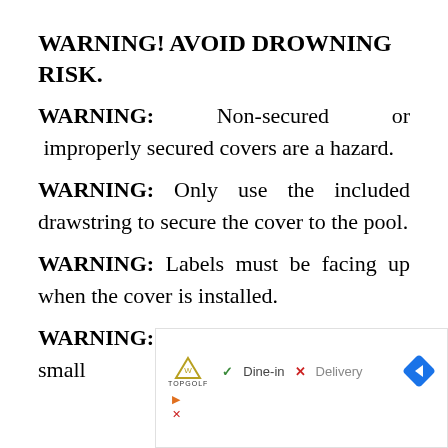WARNING! AVOID DROWNING RISK.
WARNING: Non-secured or improperly secured covers are a hazard.
WARNING: Only use the included drawstring to secure the cover to the pool.
WARNING: Labels must be facing up when the cover is installed.
WARNING: Keep children and small